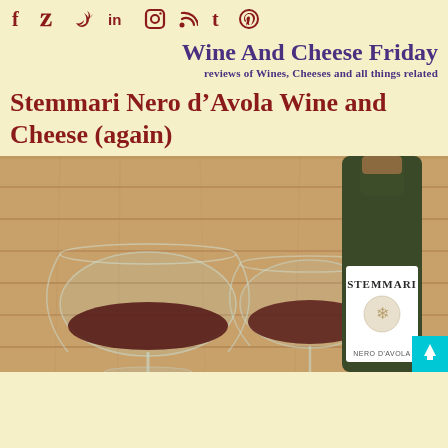social icons: f (Facebook), Twitter bird, in (LinkedIn), Instagram, RSS, Tumblr, Pinterest
Wine And Cheese Friday
reviews of Wines, Cheeses and all things related
Stemmari Nero d’Avola Wine and Cheese (again)
[Figure (photo): Photo of two wine glasses with red wine and a bottle of Stemmari Nero d'Avola wine against a wooden plank background. A cyan back-to-top arrow button is visible in the bottom-right corner.]